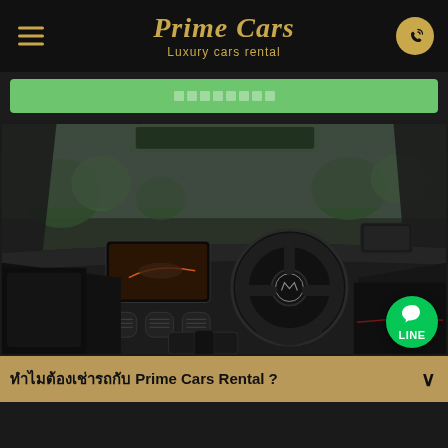Prime Cars – Luxury cars rental
ค้นหารถ (search bar / input placeholder)
[Figure (photo): Interior of a luxury Mercedes-AMG car showing the steering wheel, infotainment screen, center console, gear shift, and leather sports seats with red stitching, viewed from the driver-side door]
ทำไมต้องเช่ารถกับ Prime Cars Rental ?